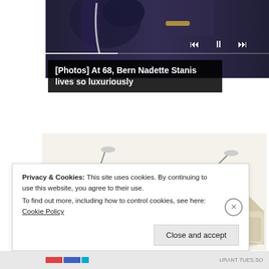[Figure (screenshot): Top portion of a web page showing a dark-themed music/video player with hands holding a microphone against a dark purple/blue background, with playback controls and a progress bar visible at the top.]
[Photos] At 68, Bern Nadette Stanis lives so luxuriously
[Figure (photo): Product photo of a luxury smart bed with built-in speakers, massage chair recliners on both sides, a laptop stand, storage compartments, reading lamps, and a wooden side table. The bed has cream/beige upholstery and brown bedding.]
Privacy & Cookies: This site uses cookies. By continuing to use this website, you agree to their use.
To find out more, including how to control cookies, see here: Cookie Policy
Close and accept